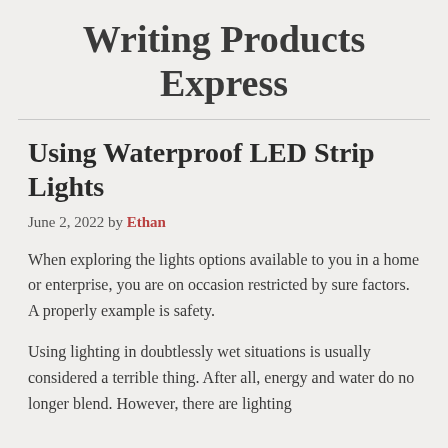Writing Products Express
Using Waterproof LED Strip Lights
June 2, 2022 by Ethan
When exploring the lights options available to you in a home or enterprise, you are on occasion restricted by sure factors. A properly example is safety.
Using lighting in doubtlessly wet situations is usually considered a terrible thing. After all, energy and water do no longer blend. However, there are lighting